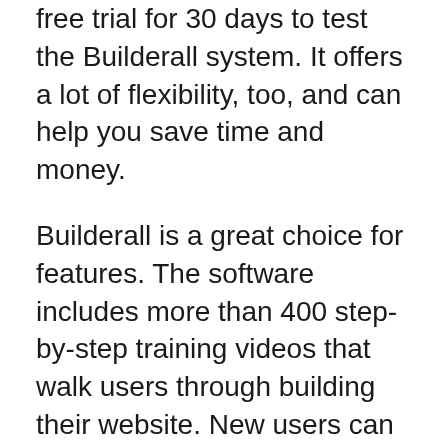free trial for 30 days to test the Builderall system. It offers a lot of flexibility, too, and can help you save time and money.
Builderall is a great choice for features. The software includes more than 400 step-by-step training videos that walk users through building their website. New users can quickly get started with the help of in-depth training videos. Fortunately, there is also a knowledge base for members who need more information. The video library contains detailed descriptions of all aspects and features of Builderall. However, since videos are better received than text, it can take some time to go through them.
Unlike most other website builders,